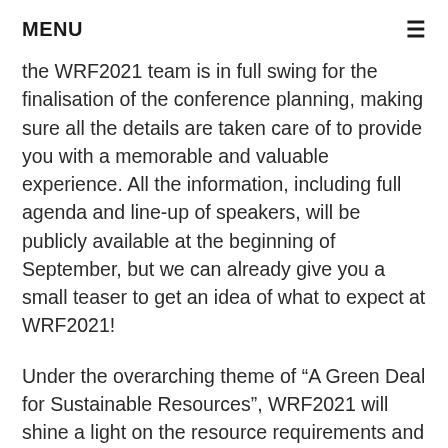MENU
the WRF2021 team is in full swing for the finalisation of the conference planning, making sure all the details are taken care of to provide you with a memorable and valuable experience. All the information, including full agenda and line-up of speakers, will be publicly available at the beginning of September, but we can already give you a small teaser to get an idea of what to expect at WRF2021!
Under the overarching theme of “A Green Deal for Sustainable Resources”, WRF2021 will shine a light on the resource requirements and implications underpinning the global green transition, as stated in international agreements and agendas such as the Paris Agreement, the European Green Deal, the